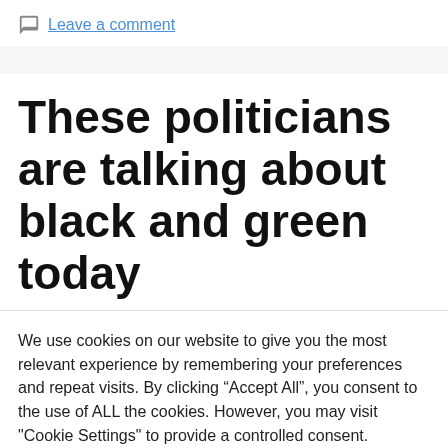Leave a comment
These politicians are talking about black and green today
We use cookies on our website to give you the most relevant experience by remembering your preferences and repeat visits. By clicking “Accept All”, you consent to the use of ALL the cookies. However, you may visit "Cookie Settings" to provide a controlled consent.
Cookie Settings | Accept All